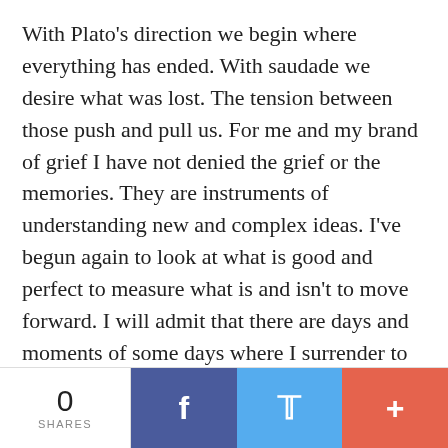With Plato's direction we begin where everything has ended. With saudade we desire what was lost. The tension between those push and pull us. For me and my brand of grief I have not denied the grief or the memories. They are instruments of understanding new and complex ideas. I've begun again to look at what is good and perfect to measure what is and isn't to move forward. I will admit that there are days and moments of some days where I surrender to the darkness. I walk into the empty home and call out her name and curse the silence. Today I am writing this knowing from memory of what was lost.